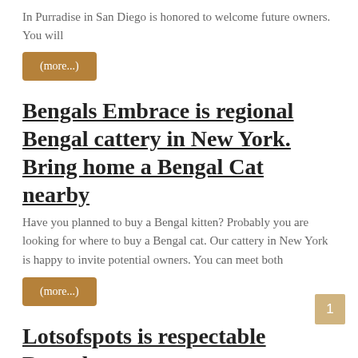In Purradise in San Diego is honored to welcome future owners. You will
(more...)
Bengals Embrace is regional Bengal cattery in New York. Bring home a Bengal Cat nearby
Have you planned to buy a Bengal kitten? Probably you are looking for where to buy a Bengal cat. Our cattery in New York is happy to invite potential owners. You can meet both
(more...)
Lotsofspots is respectable Bengal